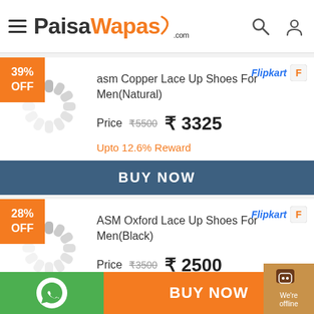PaisaWapas.com
[Figure (screenshot): Product listing: asm Copper Lace Up Shoes For Men(Natural), 39% OFF, Flipkart, Price ₹5500 ₹3325, Upto 12.6% Reward, BUY NOW button]
[Figure (screenshot): Product listing: ASM Oxford Lace Up Shoes For Men(Black), 28% OFF, Flipkart, Price ₹3500 ₹2500]
BUY NOW | WhatsApp | We're offline